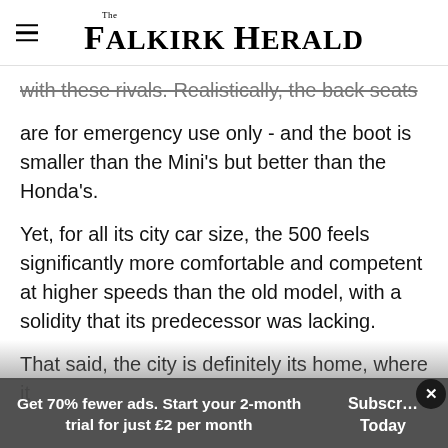The Falkirk Herald
with these rivals. Realistically, the back seats are for emergency use only - and the boot is smaller than the Mini's but better than the Honda's.
Yet, for all its city car size, the 500 feels significantly more comfortable and competent at higher speeds than the old model, with a solidity that its predecessor was lacking.
That said, the city is definitely its home, where it
Get 70% fewer ads. Start your 2-month trial for just £2 per month
Subscribe Today